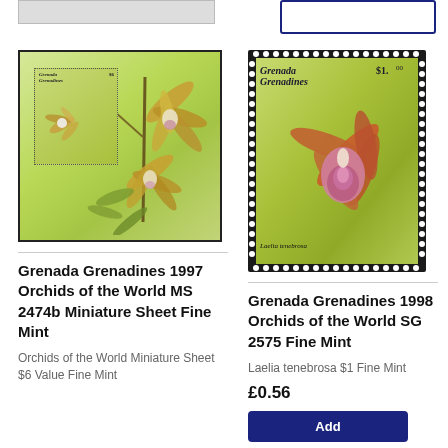[Figure (illustration): Partial image of a stamp/product from row above, top-left corner]
[Figure (illustration): Partial button/box from row above, top-right corner]
[Figure (illustration): Grenada Grenadines 1997 Orchids of the World MS 2474b Miniature Sheet stamp image showing orchid flowers on green background with inner perforated stamp]
[Figure (illustration): Grenada Grenadines 1998 Orchids of the World SG 2575 single stamp showing Laelia tenebrosa orchid, $1 value, on green background with perforated edges]
Grenada Grenadines 1997 Orchids of the World MS 2474b Miniature Sheet Fine Mint
Orchids of the World Miniature Sheet $6 Value Fine Mint
Grenada Grenadines 1998 Orchids of the World SG 2575 Fine Mint
Laelia tenebrosa $1 Fine Mint
£0.56